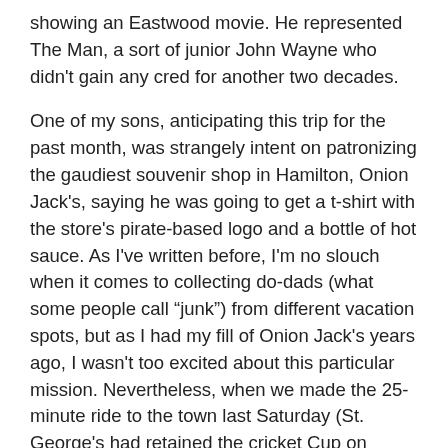showing an Eastwood movie. He represented The Man, a sort of junior John Wayne who didn't gain any cred for another two decades.
One of my sons, anticipating this trip for the past month, was strangely intent on patronizing the gaudiest souvenir shop in Hamilton, Onion Jack's, saying he was going to get a t-shirt with the store's pirate-based logo and a bottle of hot sauce. As I've written before, I'm no slouch when it comes to collecting do-dads (what some people call “junk”) from different vacation spots, but as I had my fill of Onion Jack's years ago, I wasn't too excited about this particular mission. Nevertheless, when we made the 25-minute ride to the town last Saturday (St. George's had retained the cricket Cup on Friday), there was no way of telling what would or would not be open. As it happened, Onion Jack's was in full-bore tourist mode (although the store